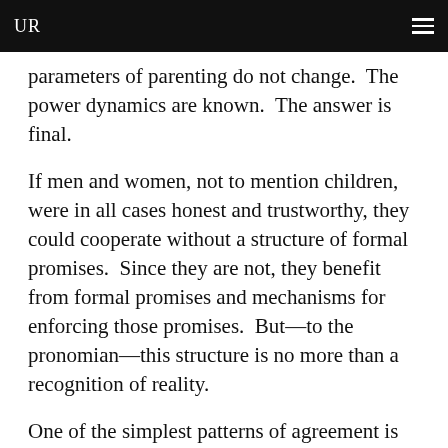UR
parameters of parenting do not change.  The power dynamics are known.  The answer is final.
If men and women, not to mention children, were in all cases honest and trustworthy, they could cooperate without a structure of formal promises.  Since they are not, they benefit from formal promises and mechanisms for enforcing those promises.  But—to the pronomian—this structure is no more than a recognition of reality.
One of the simplest patterns of agreement is property.  Property is a system in which one Urplatin claims the sole power to dominate some good—play with a toy, drive a car, fence off a plot of land—and all other Urplatins promise to